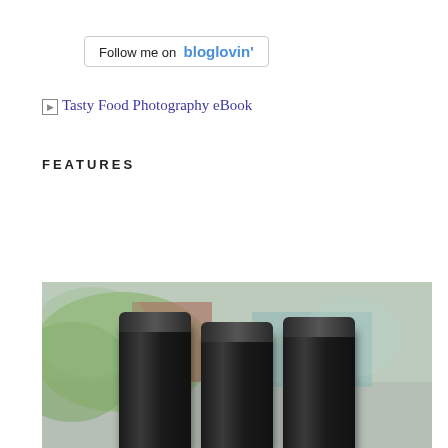[Figure (logo): Follow me on bloglovin' button with border]
[►Tasty Food Photography eBook]
FEATURES
[Figure (photo): Blurred outdoor background with three black cylindrical containers in foreground]